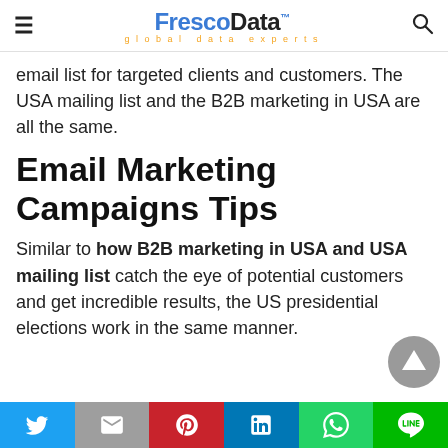FrescoData™ global data experts
email list for targeted clients and customers. The USA mailing list and the B2B marketing in USA are all the same.
Email Marketing Campaigns Tips
Similar to how B2B marketing in USA and USA mailing list catch the eye of potential customers and get incredible results, the US presidential elections work in the same manner.